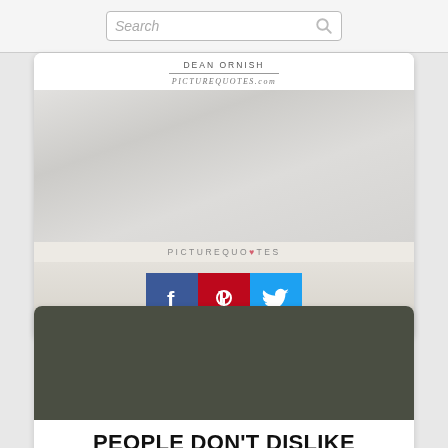[Figure (screenshot): Search bar with placeholder text 'Search' and magnifying glass icon]
DEAN ORNISH
PICTUREQUOTES.com
[Figure (photo): Light gray/white blurred background image for quote card]
PICTUREQUOTES
[Figure (infographic): Social share buttons: Facebook (blue f), Pinterest (red P), Twitter (blue bird)]
[Figure (photo): Dark olive/army green solid color rectangle for second quote card]
PEOPLE DON'T DISLIKE